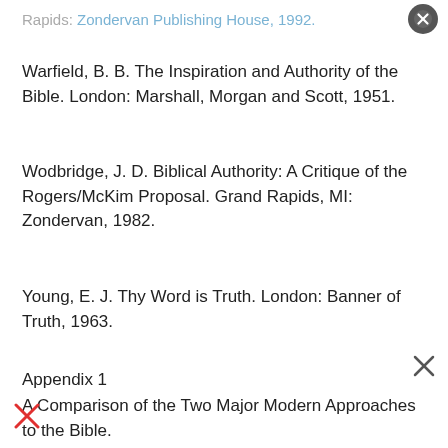Rapids: Zondervan Publishing House, 1992.
Warfield, B. B. The Inspiration and Authority of the Bible. London: Marshall, Morgan and Scott, 1951.
Wodbridge, J. D. Biblical Authority: A Critique of the Rogers/McKim Proposal. Grand Rapids, MI: Zondervan, 1982.
Young, E. J. Thy Word is Truth. London: Banner of Truth, 1963.
Appendix 1
A Comparison of the Two Major Modern Approaches to the Bible.